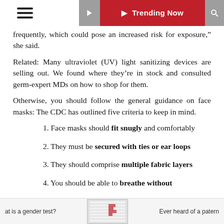Trending Now
frequently, which could pose an increased risk for exposure," she said.
Related: Many ultraviolet (UV) light sanitizing devices are selling out. We found where they're in stock and consulted germ-expert MDs on how to shop for them.
Otherwise, you should follow the general guidance on face masks: The CDC has outlined five criteria to keep in mind.
1. Face masks should fit snugly and comfortably
2. They must be secured with ties or ear loops
3. They should comprise multiple fabric layers
4. You should be able to breathe without
at is a gender test?    Ever heard of a patern